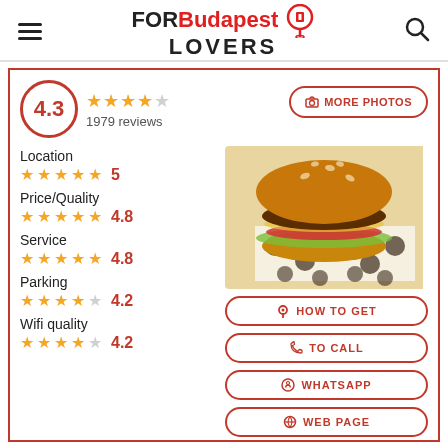FORBudapest LOVERS
4.3  ★★★★☆  1979 reviews
Location  ★★★★★  5
Price/Quality  ★★★★★  4.8
Service  ★★★★★  4.8
Parking  ★★★★☆  4.2
Wifi quality  ★★★★☆  4.2
[Figure (photo): Photo of a burger in a box with polka dot paper]
MORE PHOTOS
HOW TO GET
TO CALL
WHATSAPP
WEB PAGE